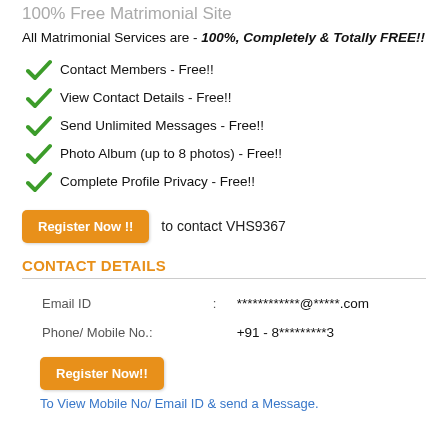100% Free Matrimonial Site
All Matrimonial Services are - 100%, Completely & Totally FREE!!
Contact Members - Free!!
View Contact Details - Free!!
Send Unlimited Messages - Free!!
Photo Album (up to 8 photos) - Free!!
Complete Profile Privacy - Free!!
Register Now !! to contact VHS9367
CONTACT DETAILS
| Field | : | Value |
| --- | --- | --- |
| Email ID | : | ************@*****.com |
| Phone/ Mobile No. | : | +91 - 8*********3 |
Register Now!!
To View Mobile No/ Email ID & send a Message.